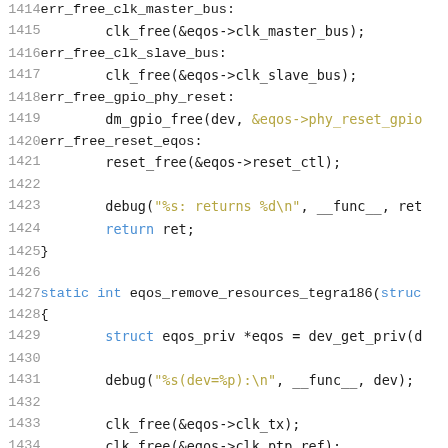[Figure (screenshot): Source code listing showing C code lines 1414-1435 with syntax highlighting. Line numbers in gray, keywords in blue, string literals in olive/yellow, identifiers in black.]